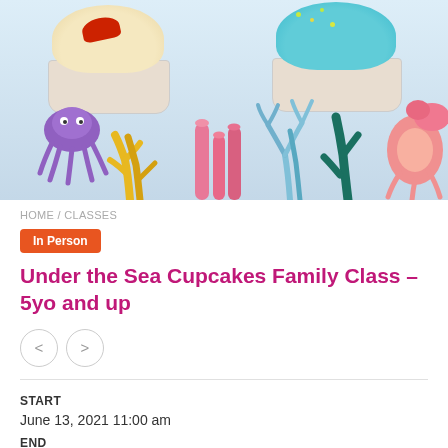[Figure (photo): Photo of decorated cupcakes with under-the-sea theme: ocean-themed frosted cupcakes with sea creatures decorations including octopus, corals, and sea plants below]
HOME / CLASSES
In Person
Under the Sea Cupcakes Family Class – 5yo and up
START
June 13, 2021 11:00 am
END